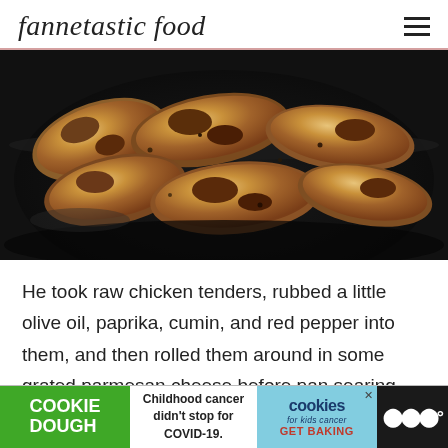fannetastic food
[Figure (photo): Breaded and seasoned chicken tenders cooking in a dark non-stick pan, showing golden-brown crust with spices.]
He took raw chicken tenders, rubbed a little olive oil, paprika, cumin, and red pepper into them, and then rolled them around in some grated parmesan cheese before pan searing them in a lit
[Figure (other): Advertisement banner: COOKIE DOUGH (green), Childhood cancer didn't stop for COVID-19., cookies for kids cancer GET BAKING logo, and a dark right section with megaphone icon.]